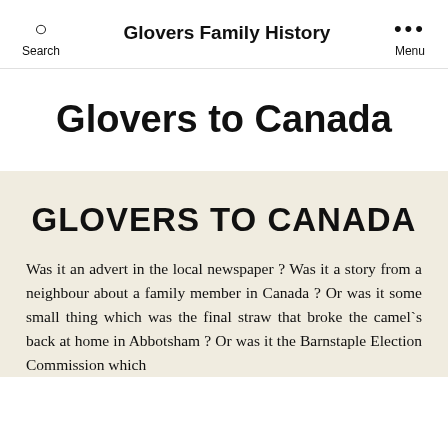Search   Glovers Family History   Menu
Glovers to Canada
GLOVERS TO CANADA
Was it an advert in the local newspaper ? Was it a story from a neighbour about a family member in Canada ? Or was it some small thing which was the final straw that broke the camel`s back at home in Abbotsham ? Or was it the Barnstaple Election Commission which